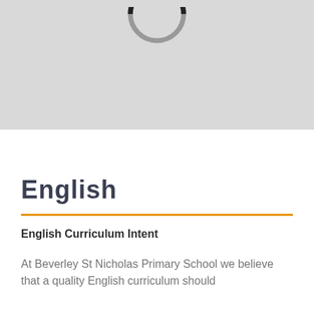[Figure (other): Gray banner area at top of page with a partial circle/ring shape (donut outline) visible at the top center, partially cropped]
English
English Curriculum Intent
At Beverley St Nicholas Primary School we believe that a quality English curriculum should